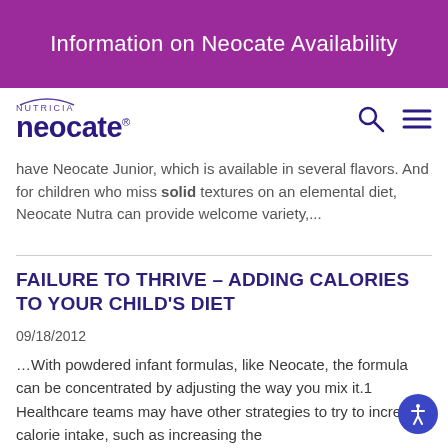Information on Neocate Availability
[Figure (logo): Nutricia Neocate logo with search and menu icons]
have Neocate Junior, which is available in several flavors. And for children who miss solid textures on an elemental diet, Neocate Nutra can provide welcome variety,...
FAILURE TO THRIVE – ADDING CALORIES TO YOUR CHILD'S DIET
09/18/2012
…With powdered infant formulas, like Neocate, the formula can be concentrated by adjusting the way you mix it.1 Healthcare teams may have other strategies to try to increase calorie intake, such as increasing the